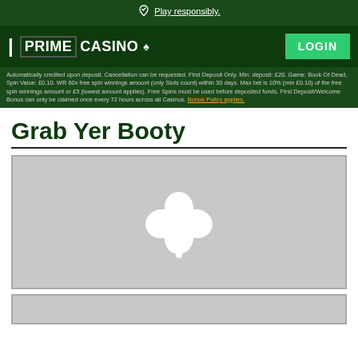Play responsibly.
[Figure (logo): Prime Casino logo with LOGIN button on dark green navigation bar]
Automatically credited upon deposit. Cancellation can be requested. First Deposit Only. Min. deposit: £20. Game: Book Of Dead, Spin Value: £0.10. WR 60x free spin winnings amount (only Slots count) within 30 days. Max bet is 10% (min £0.10) of the free spin winnings amount or £5 (lowest amount applies). Free Spins must be used before deposited funds. First Deposit/Welcome Bonus can only be claimed once every 72 hours across all Casinos. Bonus Policy applies.
Grab Yer Booty
[Figure (illustration): Grey placeholder image with white four-leaf clover / shamrock icon in the center]
[Figure (illustration): Grey placeholder image box (partially visible at bottom)]